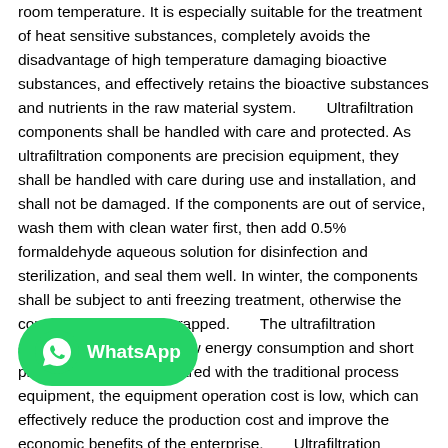room temperature. It is especially suitable for the treatment of heat sensitive substances, completely avoids the disadvantage of high temperature damaging bioactive substances, and effectively retains the bioactive substances and nutrients in the raw material system.       Ultrafiltration components shall be handled with care and protected. As ultrafiltration components are precision equipment, they shall be handled with care during use and installation, and shall not be damaged. If the components are out of service, wash them with clean water first, then add 0.5% formaldehyde aqueous solution for disinfection and sterilization, and seal them well. In winter, the components shall be subject to anti freezing treatment, otherwise the components may be scrapped.       The ultrafiltration equipment system has low energy consumption and short production cycle. Compared with the traditional process equipment, the equipment operation cost is low, which can effectively reduce the production cost and improve the economic benefits of the enterprise.       Ultrafiltration technology has the advantages of simple operation, low cost, no need to add any chemicals, the experimental conditions of ultrafiltration technology are mild, there is no phase change compared with evaporation and
[Figure (logo): WhatsApp logo badge — green rounded rectangle with WhatsApp phone icon and 'WhatsApp' text in white]